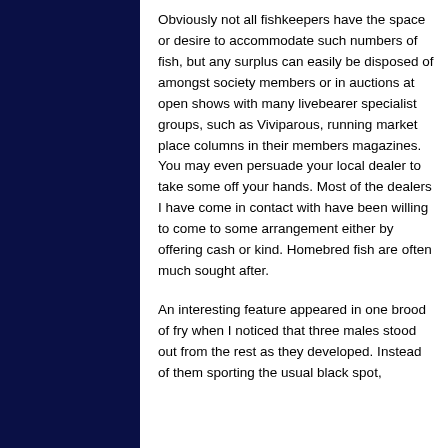Obviously not all fishkeepers have the space or desire to accommodate such numbers of fish, but any surplus can easily be disposed of amongst society members or in auctions at open shows with many livebearer specialist groups, such as Viviparous, running market place columns in their members magazines. You may even persuade your local dealer to take some off your hands. Most of the dealers I have come in contact with have been willing to come to some arrangement either by offering cash or kind. Homebred fish are often much sought after.
An interesting feature appeared in one brood of fry when I noticed that three males stood out from the rest as they developed. Instead of them sporting the usual black spot, eventually along each side of the body